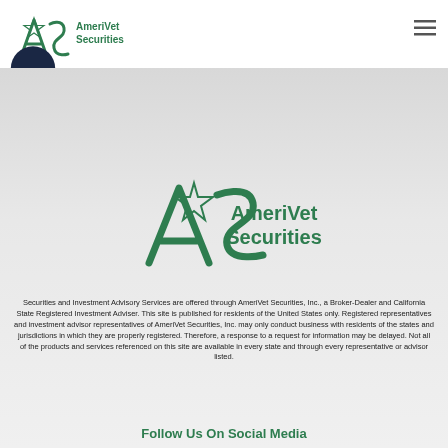[Figure (logo): AmeriVet Securities logo in top navigation bar — green AS lettermark with star, and 'AmeriVet Securities' text]
[Figure (logo): AmeriVet Securities large footer logo — green AS lettermark with star and 'AmeriVet Securities' text in green]
Securities and Investment Advisory Services are offered through AmeriVet Securities, Inc., a Broker-Dealer and California State Registered Investment Adviser. This site is published for residents of the United States only. Registered representatives and investment advisor representatives of AmeriVet Securities, Inc. may only conduct business with residents of the states and jurisdictions in which they are properly registered. Therefore, a response to a request for information may be delayed. Not all of the products and services referenced on this site are available in every state and through every representative or advisor listed.
Follow Us On Social Media
[Figure (illustration): Social media icons: Facebook, Twitter, LinkedIn in dark green circles]